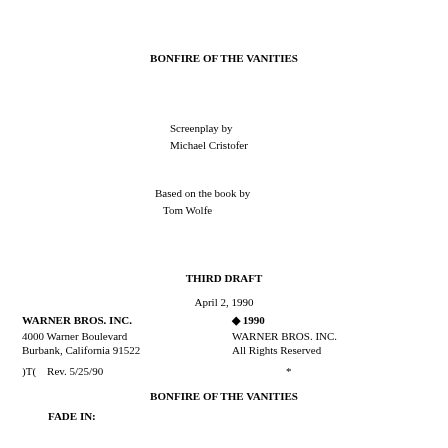BONFIRE OF THE VANITIES
Screenplay by
Michael Cristofer
Based on the book by
Tom Wolfe
THIRD DRAFT
April 2, 1990
WARNER BROS. INC.
4000 Warner Boulevard
Burbank, California 91522
◆ 1990
WARNER BROS. INC.
All Rights Reserved
)T(    Rev. 5/25/90                                  *
BONFIRE OF THE VANITIES
FADE IN: